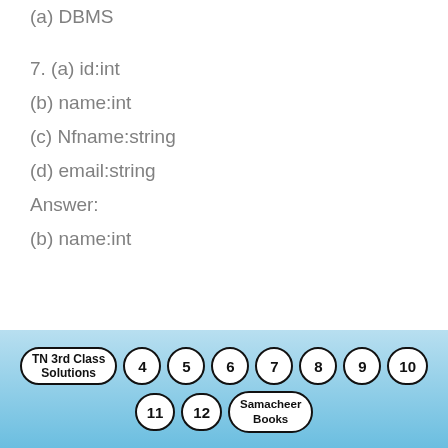(a) DBMS
7. (a) id:int
(b) name:int
(c) Nfname:string
(d) email:string
Answer:
(b) name:int
TN 3rd Class Solutions  4  5  6  7  8  9  10  11  12  Samacheer Books